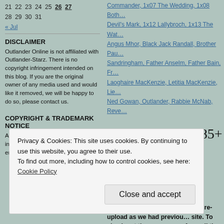21 22 23 24 25 26 27
28 29 30 31
« Jul
DISCLAIMER
Outlander Online is not affiliated with Outlander-Starz. There is no copyright infringement intended on this blog. If you are the original owner of any media used and would like it removed, we will be happy to do so, please contact us.
COPYRIGHT & TRADEMARK NOTICE
All original content on this site, including any manipulations or enhancements, is the sole p...
Commander, 1x07 The Wedding, 1x08 Both... Devil's Mark, 1x12 Lallybroch, 1x13 The Wat... Angus Mhor, Black Jack Randall, Brother Pau... Sandringham, Father Anselm, Father Bain, Fr... Laoghaire MacKenzie, Letitia MacKenzie, Lie... Ned Gowan, Outlander, Rabbie McNab, Reve...
*Re-upload* 1,385+ UHQ (1080... Ransom a Man's Soul"  Leave
Here are 1,385+ UHQ (1080p) screencaps fro... guys. This is a re-upload as we had previou... site. To check out the screencaps from all th...
The gallery might take a little while to load b...
***To get the full high res cap click on the th...
Privacy & Cookies: This site uses cookies. By continuing to use this website, you agree to their use.
To find out more, including how to control cookies, see here: Cookie Policy
Close and accept